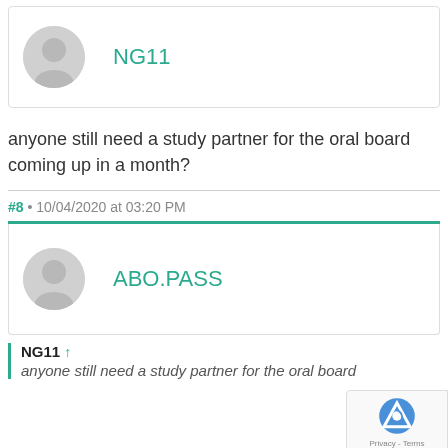NG11
anyone still need a study partner for the oral board coming up in a month?
#8 • 10/04/2020 at 03:20 PM
ABO.PASS
NG11 ↑
anyone still need a study partner for the oral board